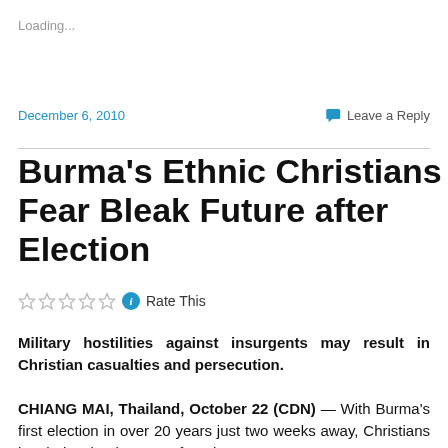Loading...
December 6, 2010
Leave a Reply
Burma's Ethnic Christians Fear Bleak Future after Election
☆☆☆☆☆ ℹ Rate This
Military hostilities against insurgents may result in Christian casualties and persecution.
CHIANG MAI, Thailand, October 22 (CDN) — With Burma's first election in over 20 years just two weeks away, Christians in ethnic minority states fear that